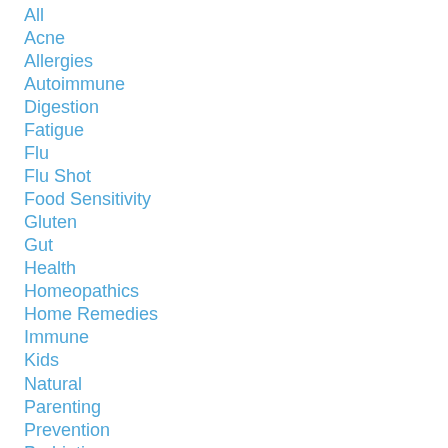All
Acne
Allergies
Autoimmune
Digestion
Fatigue
Flu
Flu Shot
Food Sensitivity
Gluten
Gut
Health
Homeopathics
Home Remedies
Immune
Kids
Natural
Parenting
Prevention
Probiotics
Sugar